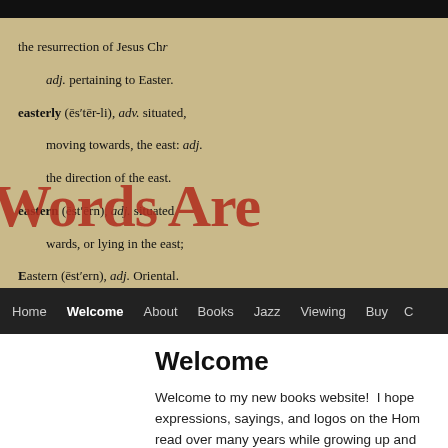[Figure (photo): Dictionary page close-up showing entries for 'easterly' and 'eastern', with a red text overlay reading 'Words Are' partially visible]
Home | Welcome | About | Books | Jazz | Viewing | Buy | C...
Welcome
Welcome to my new books website!  I hope expressions, sayings, and logos on the Home read over many years while growing up and timeless lessons in life.